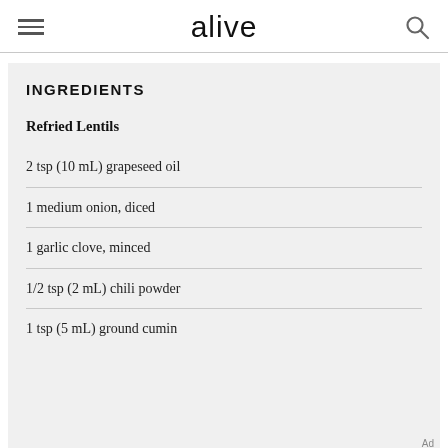alive
INGREDIENTS
Refried Lentils
2 tsp (10 mL) grapeseed oil
1 medium onion, diced
1 garlic clove, minced
1/2 tsp (2 mL) chili powder
1 tsp (5 mL) ground cumin
Ad